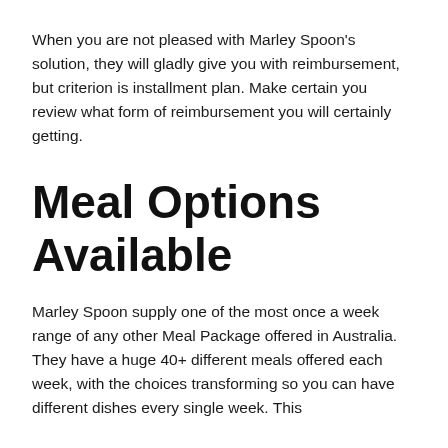When you are not pleased with Marley Spoon's solution, they will gladly give you with reimbursement, but criterion is installment plan. Make certain you review what form of reimbursement you will certainly getting.
Meal Options Available
Marley Spoon supply one of the most once a week range of any other Meal Package offered in Australia. They have a huge 40+ different meals offered each week, with the choices transforming so you can have different dishes every single week. This